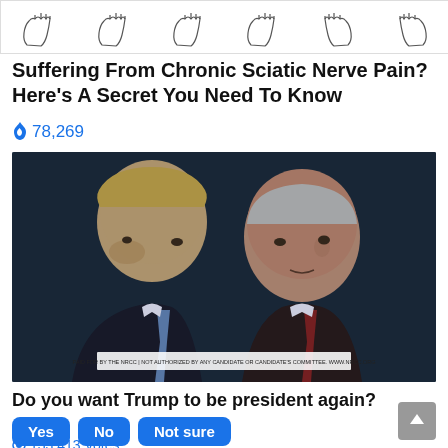[Figure (illustration): Row of foot/toe sketches forming an advertisement banner at top of page]
Suffering From Chronic Sciatic Nerve Pain? Here's A Secret You Need To Know
🔥 78,269
[Figure (photo): Photo of two elderly men in suits facing each other closely, with a disclaimer bar reading 'PAID FOR BY THE NRCC | NOT AUTHORIZED BY ANY CANDIDATE OR CANDIDATE'S COMMITTEE. WWW.NRCC.ORG']
Do you want Trump to be president again?
Yes  No  Not sure
🔗 133,413 Votes